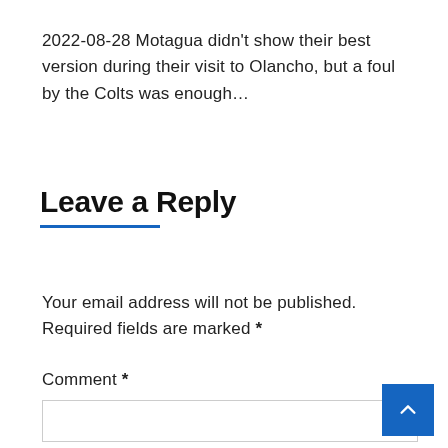2022-08-28 Motagua didn't show their best version during their visit to Olancho, but a foul by the Colts was enough...
Leave a Reply
Your email address will not be published. Required fields are marked *
Comment *